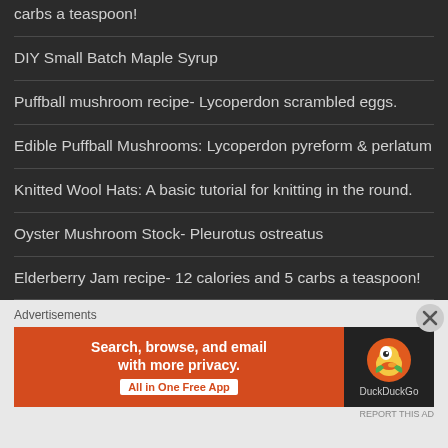carbs a teaspoon!
DIY Small Batch Maple Syrup
Puffball mushroom recipe- Lycoperdon scrambled eggs.
Edible Puffball Mushrooms: Lycoperdon pyreform & perlatum
Knitted Wool Hats: A basic tutorial for knitting in the round.
Oyster Mushroom Stock- Pleurotus ostreatus
Elderberry Jam recipe- 12 calories and 5 carbs a teaspoon!
Advertisements
[Figure (screenshot): DuckDuckGo advertisement banner: orange section with 'Search, browse, and email with more privacy. All in One Free App' and dark section with DuckDuckGo duck logo]